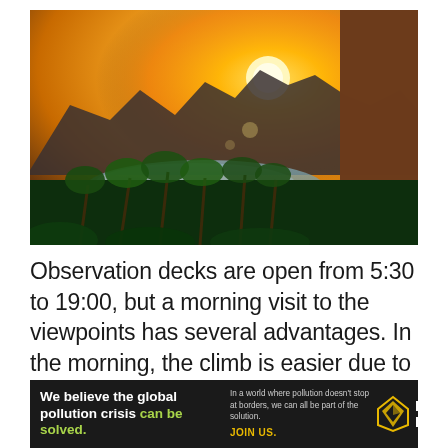[Figure (photo): Sunset/sunrise landscape photo showing golden sun rising behind mountains over a tropical bay with palm trees and lush green vegetation in the foreground. A large rock formation is visible on the right side.]
Observation decks are open from 5:30 to 19:00, but a morning visit to the viewpoints has several advantages. In the morning, the climb is easier due to the fact that there is no strong heat. While few people, you can take the best places for
[Figure (infographic): Pure Earth advertisement banner. Left side dark background with white bold text: 'We believe the global pollution crisis can be solved.' with 'can be solved.' in green. Middle: small white text 'In a world where pollution doesn't stop at borders, we can all be part of the solution. JOIN US.' Right side: Pure Earth logo with diamond/triangle icon in yellow/gold and text 'PURE EARTH' in white.]